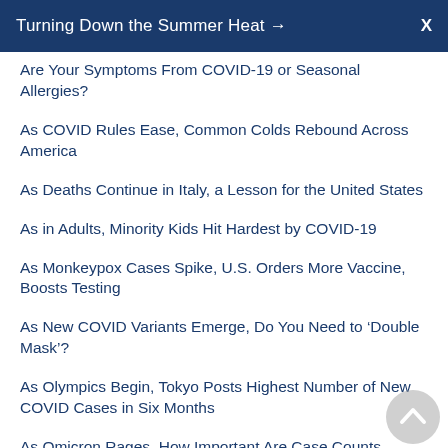Turning Down the Summer Heat →  X
Are Your Symptoms From COVID-19 or Seasonal Allergies?
As COVID Rules Ease, Common Colds Rebound Across America
As Deaths Continue in Italy, a Lesson for the United States
As in Adults, Minority Kids Hit Hardest by COVID-19
As Monkeypox Cases Spike, U.S. Orders More Vaccine, Boosts Testing
As New COVID Variants Emerge, Do You Need to 'Double Mask'?
As Olympics Begin, Tokyo Posts Highest Number of New COVID Cases in Six Months
As Omicron Rages, How Important Are Case Counts Anymore?